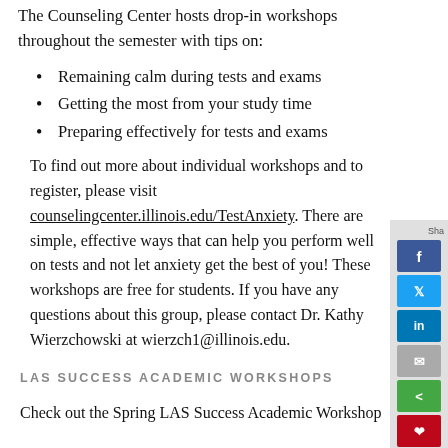The Counseling Center hosts drop-in workshops throughout the semester with tips on:
Remaining calm during tests and exams
Getting the most from your study time
Preparing effectively for tests and exams
To find out more about individual workshops and to register, please visit counselingcenter.illinois.edu/TestAnxiety. There are simple, effective ways that can help you perform well on tests and not let anxiety get the best of you! These workshops are free for students. If you have any questions about this group, please contact Dr. Kathy Wierzchowski at wierzch1@illinois.edu.
LAS SUCCESS ACADEMIC WORKSHOPS
Check out the Spring LAS Success Academic Workshop